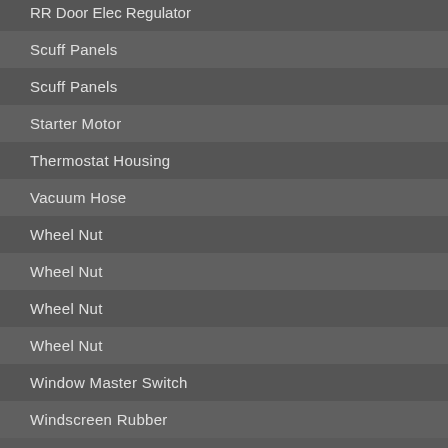RR Door Elec Regulator
Scuff Panels
Scuff Panels
Starter Motor
Thermostat Housing
Vacuum Hose
Wheel Nut
Wheel Nut
Wheel Nut
Wheel Nut
Window Master Switch
Windscreen Rubber